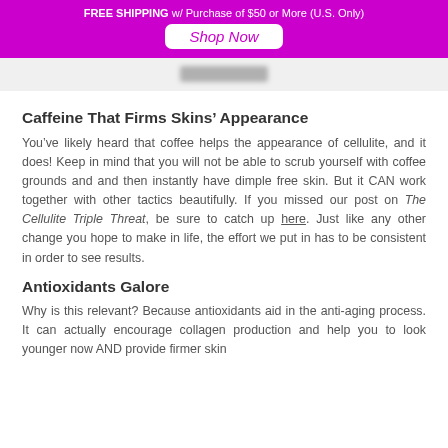FREE SHIPPING w/ Purchase of $50 or More (U.S. Only)
Shop Now
[Figure (logo): Blurred/redacted logo image in gray]
Caffeine That Firms Skins’ Appearance
You’ve likely heard that coffee helps the appearance of cellulite, and it does! Keep in mind that you will not be able to scrub yourself with coffee grounds and and then instantly have dimple free skin. But it CAN work together with other tactics beautifully. If you missed our post on The Cellulite Triple Threat, be sure to catch up here. Just like any other change you hope to make in life, the effort we put in has to be consistent in order to see results.
Antioxidants Galore
Why is this relevant? Because antioxidants aid in the anti-aging process. It can actually encourage collagen production and help you to look younger now AND provide firmer skin